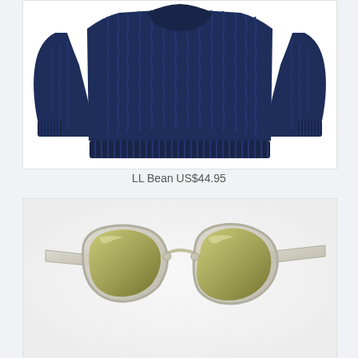[Figure (photo): Navy blue cable-knit sweater laid flat on white background]
LL Bean US$44.95
[Figure (photo): Clear/transparent frame sunglasses with olive/gold gradient lenses on white background]